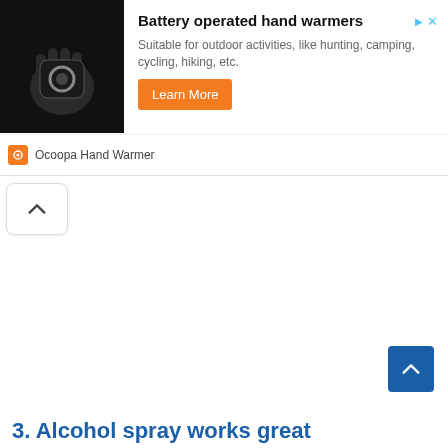[Figure (infographic): Advertisement banner for Ocoopa Hand Warmer showing a hand holding a black device, with title 'Battery operated hand warmers', description text, Learn More button, and brand logo.]
[Figure (other): Collapse/chevron up button (caret up icon inside a rounded rectangle)]
[Figure (other): Scroll to top button (blue square with white chevron up arrow)]
3. Alcohol spray works great